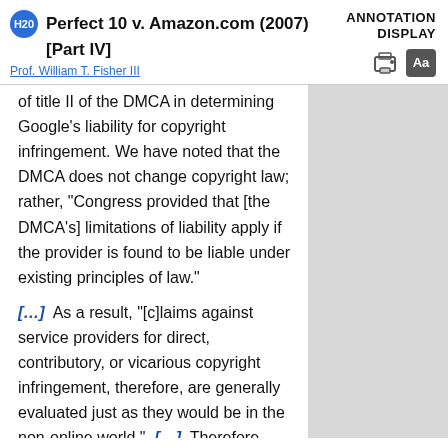Perfect 10 v. Amazon.com (2007) [Part IV] — ANNOTATION DISPLAY
Prof. William T. Fisher III
of title II of the DMCA in determining Google's liability for copyright infringement. We have noted that the DMCA does not change copyright law; rather, "Congress provided that [the DMCA's] limitations of liability apply if the provider is found to be liable under existing principles of law."
[...] As a result, "[c]laims against service providers for direct, contributory, or vicarious copyright infringement, therefore, are generally evaluated just as they would be in the non-online world." [...] Therefore,